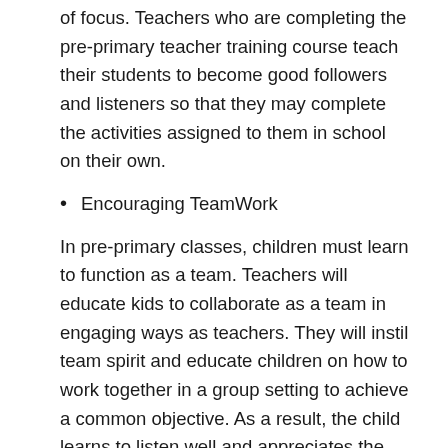of focus. Teachers who are completing the pre-primary teacher training course teach their students to become good followers and listeners so that they may complete the activities assigned to them in school on their own.
Encouraging TeamWork
In pre-primary classes, children must learn to function as a team. Teachers will educate kids to collaborate as a team in engaging ways as teachers. They will instil team spirit and educate children on how to work together in a group setting to achieve a common objective. As a result, the child learns to listen well and appreciates the opinions of his colleagues.
Career Opportunities